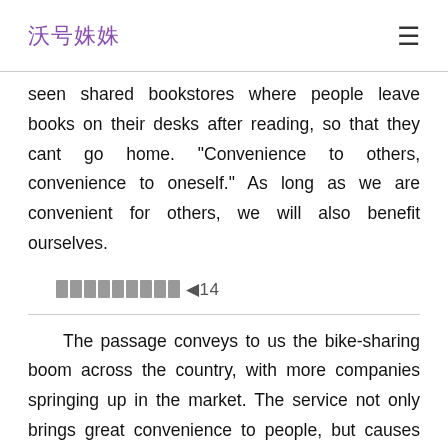沃号姝姝  ≡
seen shared bookstores where people leave books on their desks after reading, so that they cant go home. "Convenience to others, convenience to oneself." As long as we are convenient for others, we will also benefit ourselves.
▉▉▉▉▉▉▉▉▉ ◀14
The passage conveys to us the bike-sharing boom across the country, with more companies springing up in the market. The service not only brings great convenience to people, but causes some problems as well.
From my standpoint, bike-sharing system has